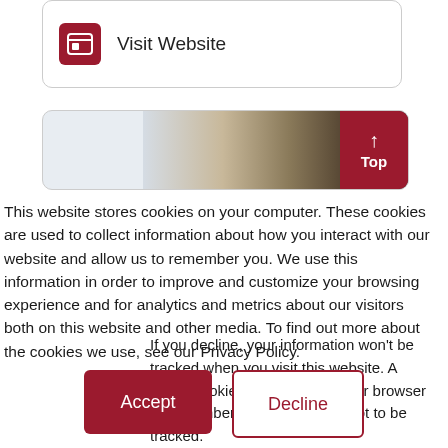[Figure (screenshot): Visit Website button with a browser/grid icon in a dark red rounded square, inside a rounded rectangle card]
[Figure (photo): Partial photo of a plate with grains and sprouts food, with a dark red 'Top' back-to-top button overlaid on the right]
This website stores cookies on your computer. These cookies are used to collect information about how you interact with our website and allow us to remember you. We use this information in order to improve and customize your browsing experience and for analytics and metrics about our visitors both on this website and other media. To find out more about the cookies we use, see our Privacy Policy.
If you decline, your information won't be tracked when you visit this website. A single cookie will be used in your browser to remember your preference not to be tracked.
Accept
Decline